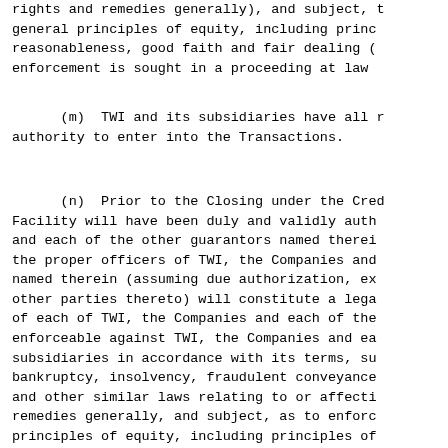rights and remedies generally), and subject, to general principles of equity, including principles of reasonableness, good faith and fair dealing (enforcement is sought in a proceeding at law
(m)  TWI and its subsidiaries have all requisite authority to enter into the Transactions.
(n)  Prior to the Closing under the Credit Facility will have been duly and validly authorized and each of the other guarantors named therein, the proper officers of TWI, the Companies and named therein (assuming due authorization, execution by other parties thereto) will constitute a legal obligation of each of TWI, the Companies and each of the subsidiaries enforceable against TWI, the Companies and each of its subsidiaries in accordance with its terms, subject to bankruptcy, insolvency, fraudulent conveyance, and other similar laws relating to or affecting creditors' remedies generally, and subject, as to enforcement, to principles of equity, including principles of good faith and fair dealing (regardless of whether